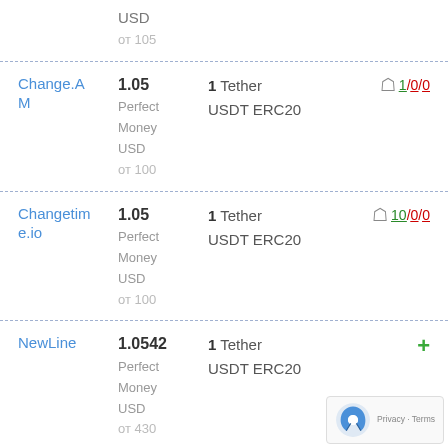| Exchange | Rate / Give | Receive | Reviews |
| --- | --- | --- | --- |
|  | USD
от 105 |  |  |
| Change.AM | 1.05
Perfect
Money
USD
от 100 | 1 Tether
USDT ERC20 | 1/0/0 |
| Changetim
e.io | 1.05
Perfect
Money
USD
от 100 | 1 Tether
USDT ERC20 | 10/0/0 |
| NewLine | 1.0542
Perfect
Money
USD
от 430 | 1 Tether
USDT ERC20 | + |